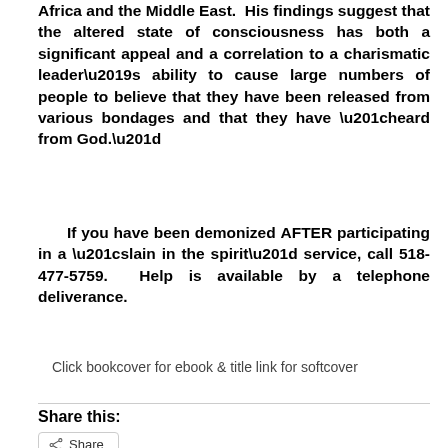Africa and the Middle East. His findings suggest that the altered state of consciousness has both a significant appeal and a correlation to a charismatic leader’s ability to cause large numbers of people to believe that they have been released from various bondages and that they have “heard from God.”
If you have been demonized AFTER participating in a “slain in the spirit” service, call 518-477-5759. Help is available by a telephone deliverance.
Click bookcover for ebook & title link for softcover
Share this: